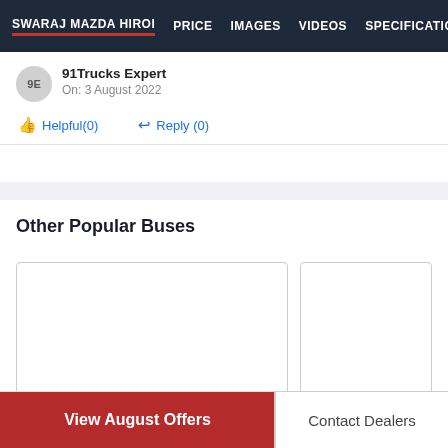SWARAJ MAZDA HIROI  PRICE  IMAGES  VIDEOS  SPECIFICATIO
9E  91Trucks Expert
On: 3 August 2022
Helpful(0)   Reply (0)
Other Popular Buses
[Figure (other): Two bus product card placeholders (empty white boxes with borders)]
View August Offers
Contact Dealers